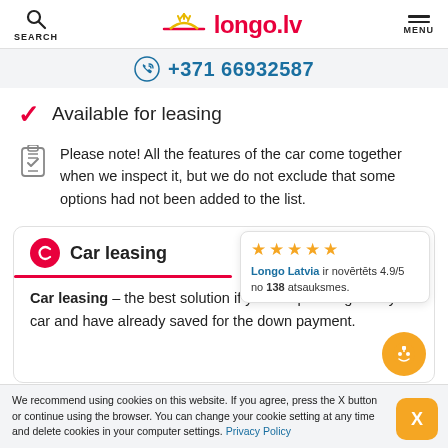SEARCH | longo.lv | MENU
+371 66932587
Available for leasing
Please note! All the features of the car come together when we inspect it, but we do not exclude that some options had not been added to the list.
Car leasing
Car leasing – the best solution if you are planning to buy a car and have already saved for the down payment.
Longo Latvia ir novērtēts 4.9/5 no 138 atsauksmes.
We recommend using cookies on this website. If you agree, press the X button or continue using the browser. You can change your cookie setting at any time and delete cookies in your computer settings. Privacy Policy